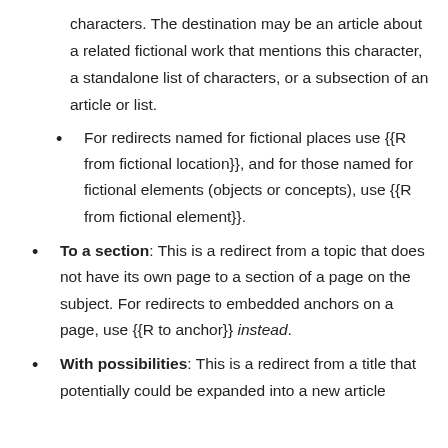characters. The destination may be an article about a related fictional work that mentions this character, a standalone list of characters, or a subsection of an article or list.
For redirects named for fictional places use {{R from fictional location}}, and for those named for fictional elements (objects or concepts), use {{R from fictional element}}.
To a section: This is a redirect from a topic that does not have its own page to a section of a page on the subject. For redirects to embedded anchors on a page, use {{R to anchor}} instead.
With possibilities: This is a redirect from a title that potentially could be expanded into a new article...